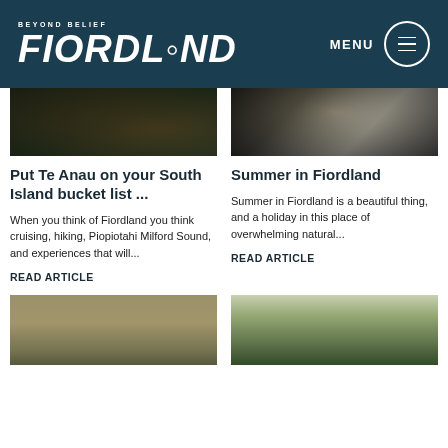BEYOND BELIEF FIORDLAND — MENU
[Figure (photo): Dark scenic photo of Fiordland, warm tones, reflections]
[Figure (photo): Black and white photo of person stand-up paddleboarding on water with mountains in background]
Put Te Anau on your South Island bucket list ...
When you think of Fiordland you think cruising, hiking, Piopiotahi Milford Sound, and experiences that will...
READ ARTICLE
Summer in Fiordland
Summer in Fiordland is a beautiful thing, and a holiday in this place of overwhelming natural...
READ ARTICLE
[Figure (photo): Scenic landscape photo with warm tones, person in foreground]
[Figure (photo): Aerial photo of green mountain ridge with winding road]